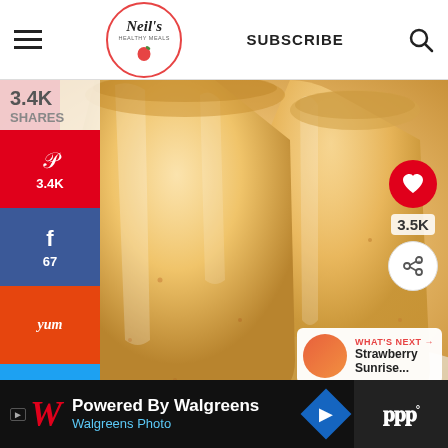Neil's Healthy Meals | SUBSCRIBE
[Figure (photo): Two glasses of creamy peach/mango smoothie photographed close-up on a white surface]
3.4K SHARES
Pinterest 3.4K
Facebook 67
Yummly
Twitter
3.5K
WHAT'S NEXT → Strawberry Sunrise...
Powered By Walgreens Walgreens Photo